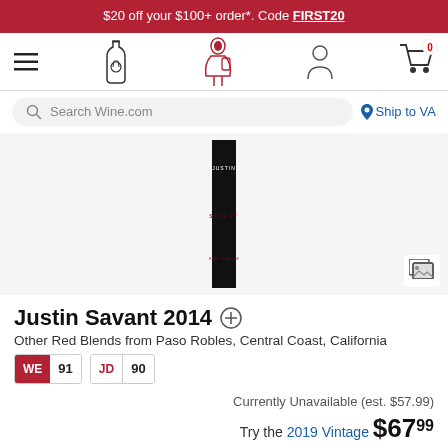$20 off your $100+ order*. Code FIRST20
[Figure (screenshot): Wine.com navigation bar with hamburger menu, bottle icon, sommelier/waiter icon, user profile icon, and shopping cart with 0 items badge]
[Figure (screenshot): Search bar with magnifying glass icon and text 'Search Wine.com', and 'Ship to VA' location link]
[Figure (photo): Justin Savant 2014 wine bottle on gray background - tall dark bottle with black label showing JUSTIN SAVANT PASO ROBLES text. Gallery icon in bottom right corner.]
Justin Savant 2014
Other Red Blends from Paso Robles, Central Coast, California
WE 91   JD 90
Currently Unavailable (est. $57.99)
Try the 2019 Vintage $67.99